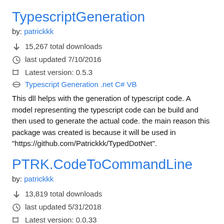TypescriptGeneration
by: patrickkk
15,267 total downloads
last updated 7/10/2016
Latest version: 0.5.3
Typescript Generation .net C# VB
This dll helps with the generation of typescript code. A model representing the typescript code can be build and then used to generate the actual code. the main reason this package was created is because it will be used in "https://github.com/Patrickkk/TypedDotNet".
PTRK.CodeToCommandLine
by: patrickkk
13,819 total downloads
last updated 5/31/2018
Latest version: 0.0.33
logger logging logs